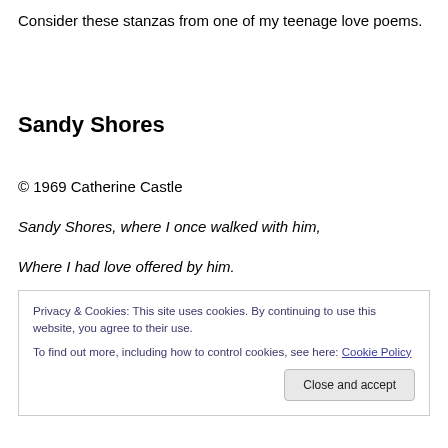Consider these stanzas from one of my teenage love poems.
Sandy Shores
© 1969 Catherine Castle
Sandy Shores, where I once walked with him,
Where I had love offered by him.
Privacy & Cookies: This site uses cookies. By continuing to use this website, you agree to their use.
To find out more, including how to control cookies, see here: Cookie Policy
Close and accept